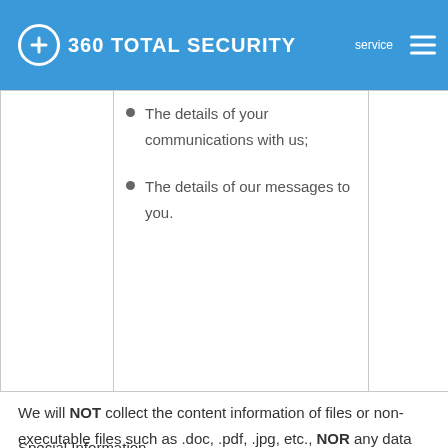360 TOTAL SECURITY
|  | • The details of your communications with us;
• The details of our messages to you. |  |
We will NOT collect the content information of files or non-executable files such as .doc, .pdf, .jpg, etc., NOR any data generated by or transmitted through 360 Total Security.
Special Information